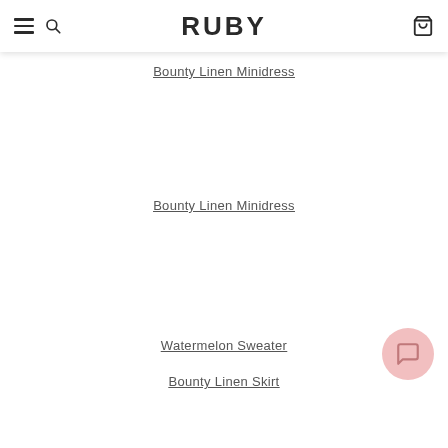RUBY
Bounty Linen Minidress
Bounty Linen Minidress
Watermelon Sweater
Bounty Linen Skirt